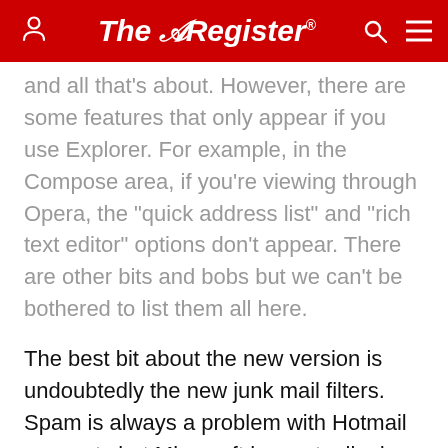The Register
and all that's about. However, there are some features that only appear if you use Explorer. For example, in the Compose area, if you're viewing through Opera, the "quick address list" and "rich text editor" options don't appear. There are other bits and bobs but we can't be bothered to list them all here.
The best bit about the new version is undoubtedly the new junk mail filters. Spam is always a problem with Hotmail accounts but Microsoft has actually done an excellent job in approaching the problem. You get to decide the level of security - right the way up to "exclusive", which will scrap every email that doesn't come from the people in your address book.
It also allows you to block particular senders, although